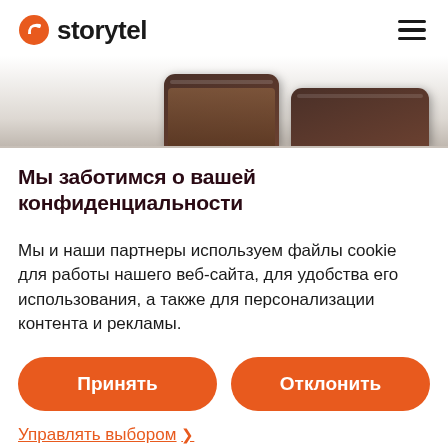storytel
[Figure (photo): Two smartphones shown from the top, partially visible at the bottom of a white-to-gray gradient background section]
Мы заботимся о вашей конфиденциальности
Мы и наши партнеры используем файлы cookie для работы нашего веб-сайта, для удобства его использования, а также для персонализации контента и рекламы.
Принять
Отклонить
Управлять выбором ❯